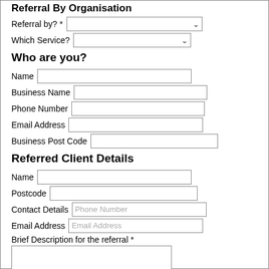Referral By Organisation
Referral by? *
Which Service?
Who are you?
Name
Business Name
Phone Number
Email Address
Business Post Code
Referred Client Details
Name
Postcode
Contact Details
Email Address
Brief Description for the referral *